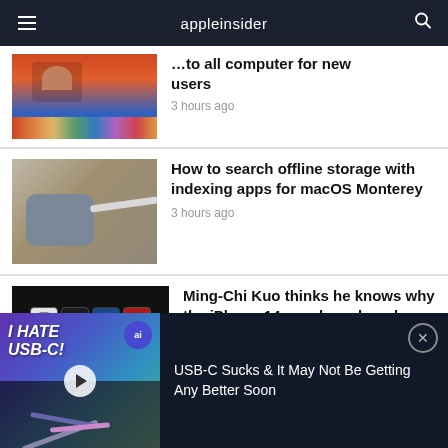appleinsider
[Figure (screenshot): Partially visible article thumbnail showing a MacBook with colorful app icons]
…to all computer for new users
3 hours ago
[Figure (photo): Blue/gray USB-C charger on a stone surface with cable]
How to search offline storage with indexing apps for macOS Monterey
3 hours ago
[Figure (photo): Four iPhone 14 models in white, black, blue, and red on dark background]
Ming-Chi Kuo thinks he knows why the iPhone 14 may launch early
[Figure (screenshot): Video player bar showing 'I HATE USB-C' video thumbnail with cables, ai badge, and title 'USB-C Sucks & It May Not Be Getting Any Better Soon']
USB-C Sucks & It May Not Be Getting Any Better Soon